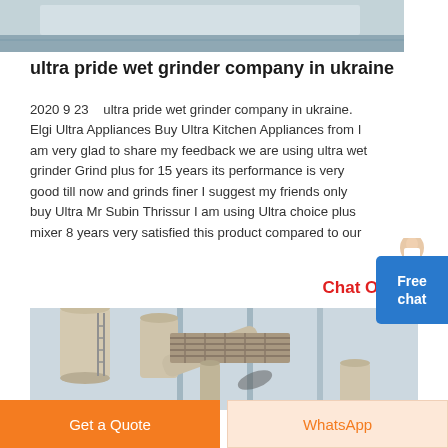[Figure (photo): Top portion of an industrial or factory interior scene, partially visible]
ultra pride wet grinder company in ukraine
2020 9 23    ultra pride wet grinder company in ukraine. Elgi Ultra Appliances Buy Ultra Kitchen Appliances from I am very glad to share my feedback we are using ultra wet grinder Grind plus for 15 years its performance is very good till now and grinds finer I suggest my friends only buy Ultra Mr Subin Thrissur I am using Ultra choice plus mixer 8 years very satisfied this product compared to our
Chat Online
[Figure (photo): Industrial equipment photo showing large cylindrical tubes/pipes and a metal rack structure against a light background]
Get a Quote
WhatsApp